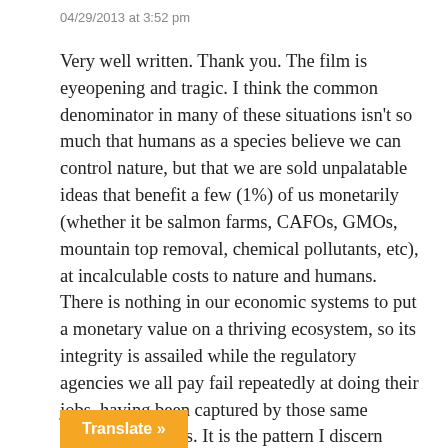04/29/2013 at 3:52 pm
Very well written. Thank you. The film is eyeopening and tragic. I think the common denominator in many of these situations isn't so much that humans as a species believe we can control nature, but that we are sold unpalatable ideas that benefit a few (1%) of us monetarily (whether it be salmon farms, CAFOs, GMOs, mountain top removal, chemical pollutants, etc), at incalculable costs to nature and humans. There is nothing in our economic systems to put a monetary value on a thriving ecosystem, so its integrity is assailed while the regulatory agencies we all pay fail repeatedly at doing their jobs, having been captured by those same powerful interests. It is the pattern I discern over and over.
Translate »